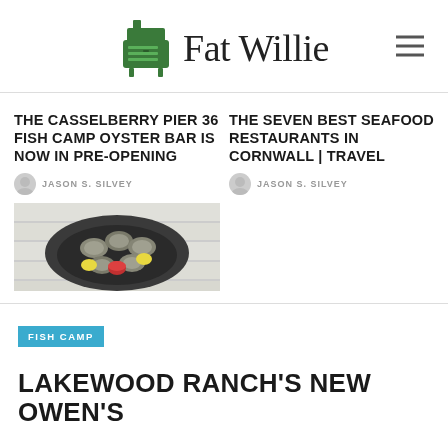[Figure (logo): Fat Willie website logo with green barbecue smoker icon and serif 'Fat Willie' text]
THE CASSELBERRY PIER 36 FISH CAMP OYSTER BAR IS NOW IN PRE-OPENING
JASON S. SILVEY
[Figure (photo): Overhead photo of oysters on a plate with lemon wedges and dipping sauce on a white wooden surface]
THE SEVEN BEST SEAFOOD RESTAURANTS IN CORNWALL | TRAVEL
JASON S. SILVEY
FISH CAMP
LAKEWOOD RANCH'S NEW OWEN'S